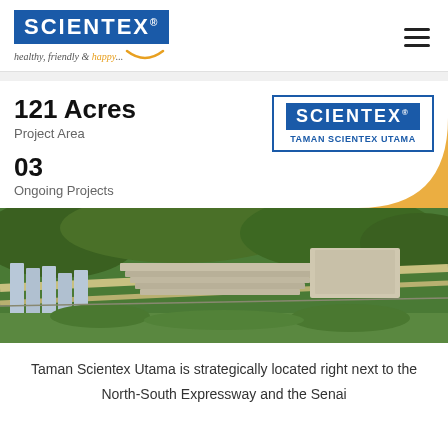SCIENTEX® healthy, friendly & happy...
121 Acres
Project Area
[Figure (logo): Scientex Taman Scientex Utama logo with blue border]
03
Ongoing Projects
[Figure (photo): Aerial view of Taman Scientex Utama development showing residential and commercial buildings surrounded by greenery]
Taman Scientex Utama is strategically located right next to the North-South Expressway and the Senai